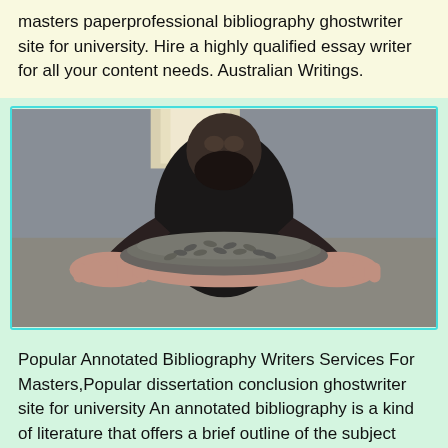masters paperprofessional bibliography ghostwriter site for university. Hire a highly qualified essay writer for all your content needs. Australian Writings.
[Figure (photo): A man with a beard dressed in black holding out two hands filled with sunflower seeds in a large warehouse-like space.]
Popular Annotated Bibliography Writers Services For Masters,Popular dissertation conclusion ghostwriter site for university An annotated bibliography is a kind of literature that offers a brief outline of the subject matter that you have picked from the source referred Popular annotated bibliography writing site for mba Conclusion